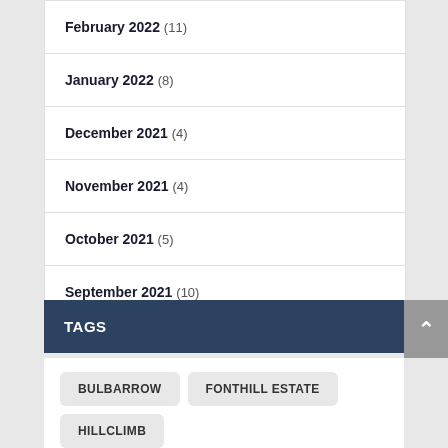February 2022 (11)
January 2022 (8)
December 2021 (4)
November 2021 (4)
October 2021 (5)
September 2021 (10)
TAGS
BULBARROW
FONTHILL ESTATE
HILLCLIMB
TISBURY
WYLYE VALLEY